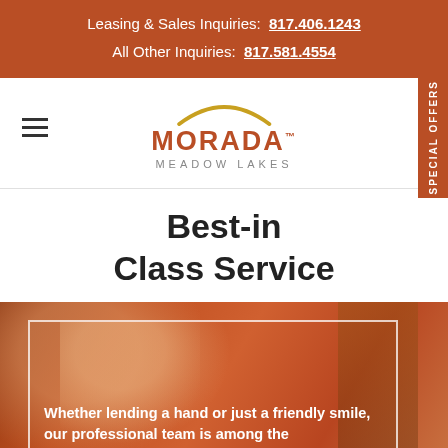Leasing & Sales Inquiries: 817.406.1243
All Other Inquiries: 817.581.4554
[Figure (logo): Morada Meadow Lakes logo with golden arch and rust-colored text]
Best-in Class Service
[Figure (photo): Elderly people, caregiver and resident smiling, orange-tinted photo with white border overlay]
Whether lending a hand or just a friendly smile, our professional team is among the
Reveal Pricing | Schedule a Tour